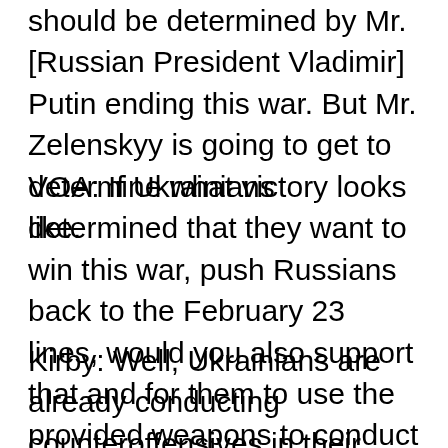should be determined by Mr. [Russian President Vladimir] Putin ending this war. But Mr. Zelenskyy is going to get to determine what victory looks like.
VOA: If Ukrainians determined that they want to win this war, push Russians back to the February 23 lines, would you also support that and for them to use the provided weapons to conduct counteroffensives?
Kirby: Well, Ukrainians are already conducting counteroffensives in their own country. I mean, look at what they've been doing in the south, look at Khakiv in the north, where the Russians